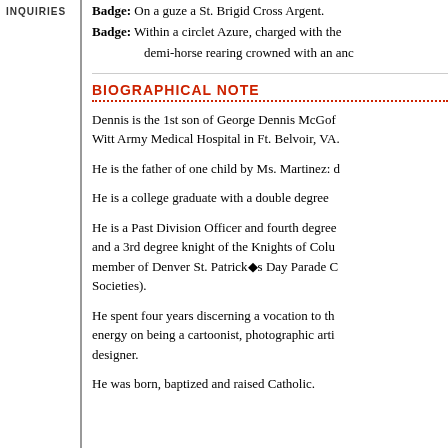INQUIRIES
Badge: On a guze a St. Brigid Cross Argent.
Badge: Within a circlet Azure, charged with the demi-horse rearing crowned with an anc...
BIOGRAPHICAL NOTE
Dennis is the 1st son of George Dennis McGof... Witt Army Medical Hospital in Ft. Belvoir, VA.
He is the father of one child by Ms. Martinez: d...
He is a college graduate with a double degree...
He is a Past Division Officer and fourth degree... and a 3rd degree knight of the Knights of Colu... member of Denver St. Patrick◆s Day Parade C... Societies).
He spent four years discerning a vocation to th... energy on being a cartoonist, photographic arti... designer.
He was born, baptized and raised Catholic.